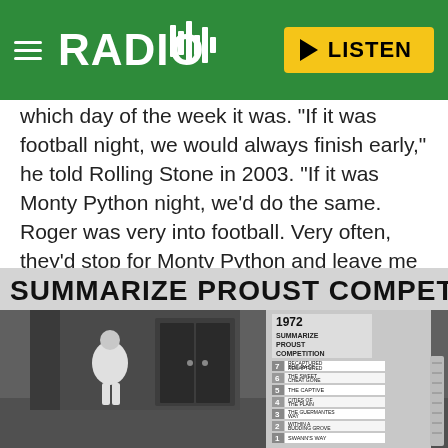RADIO X  LISTEN
which day of the week it was. "If it was football night, we would always finish early," he told Rolling Stone in 2003. "If it was Monty Python night, we'd do the same. Roger was very into football. Very often, they'd stop for Monty Python and leave me to do a rough mix."
[Figure (photo): Black and white photo of a Monty Python sketch showing the 'Summarize Proust Competition' with two performers on stage and a scoreboard listing the seven volumes of Proust numbered 1-7: Swann's Way, Within a Budding Grove, The Guermantes Way, Cities of the Plain, The Captive, The Sweet Cheat Gone, The Past Recaptured. A banner reads 'SUMMARIZE PROUST COMPETI...' and a card reads '1972 SUMMARIZE PROUST COMPETITION'.]